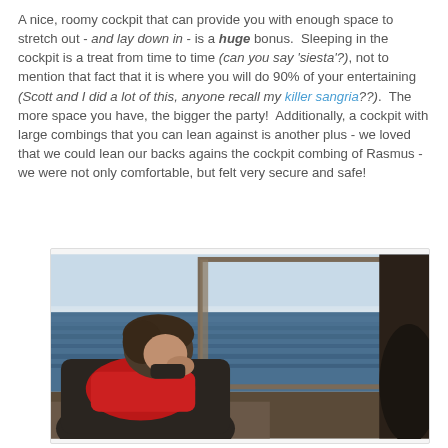A nice, roomy cockpit that can provide you with enough space to stretch out - and lay down in - is a huge bonus.  Sleeping in the cockpit is a treat from time to time (can you say 'siesta'?), not to mention that fact that it is where you will do 90% of your entertaining (Scott and I did a lot of this, anyone recall my killer sangria??).  The more space you have, the bigger the party!  Additionally, a cockpit with large combings that you can lean against is another plus - we loved that we could lean our backs agains the cockpit combing of Rasmus - we were not only comfortable, but felt very secure and safe!
[Figure (photo): A person sitting in the cockpit of a boat, wearing a dark jacket and red life vest/scarf, looking out through a large window at the ocean and sky.]